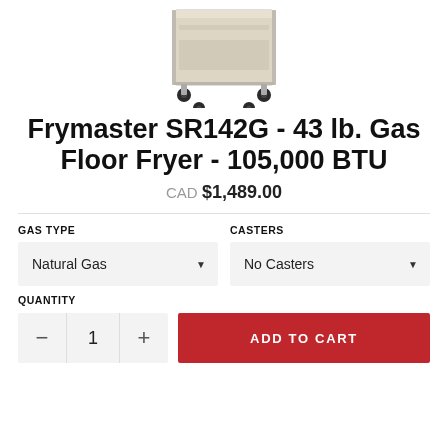[Figure (photo): Product photo of a Frymaster SR142G gas floor fryer, showing the beige/stainless steel unit with black caster wheels, viewed from above at an angle.]
Frymaster SR142G - 43 lb. Gas Floor Fryer - 105,000 BTU
CAD $1,489.00
GAS TYPE
Natural Gas
CASTERS
No Casters
QUANTITY
1
ADD TO CART